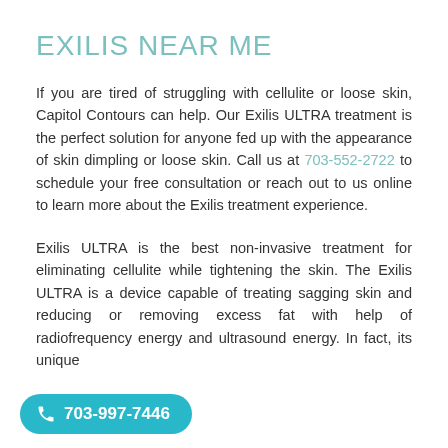EXILIS NEAR ME
If you are tired of struggling with cellulite or loose skin, Capitol Contours can help. Our Exilis ULTRA treatment is the perfect solution for anyone fed up with the appearance of skin dimpling or loose skin. Call us at 703-552-2722 to schedule your free consultation or reach out to us online to learn more about the Exilis treatment experience.
Exilis ULTRA is the best non-invasive treatment for eliminating cellulite while tightening the skin. The Exilis ULTRA is a device capable of treating sagging skin and reducing or removing excess fat with help of radiofrequency energy and ultrasound energy. In fact, its unique